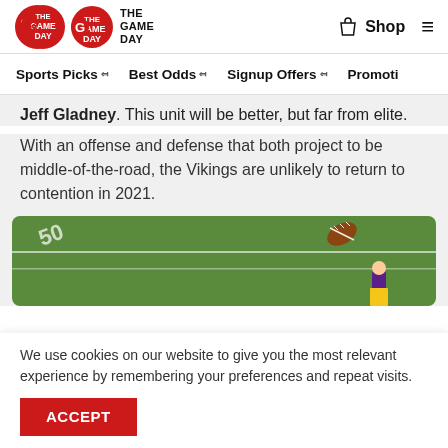THE GAME DAY — Shop (navigation header with logo, shop link, and hamburger menu)
Sports Picks | Best Odds | Signup Offers | Promotions
Jeff Gladney. This unit will be better, but far from elite.
With an offense and defense that both project to be middle-of-the-road, the Vikings are unlikely to return to contention in 2021.
[Figure (photo): Football field with a football in flight and a player visible at lower right]
We use cookies on our website to give you the most relevant experience by remembering your preferences and repeat visits.
ACCEPT